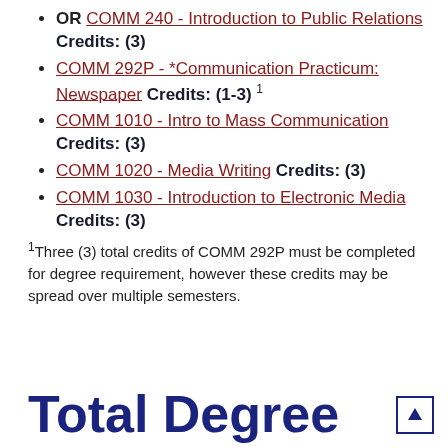OR COMM 240 - Introduction to Public Relations Credits: (3)
COMM 292P - *Communication Practicum: Newspaper Credits: (1-3) 1
COMM 1010 - Intro to Mass Communication Credits: (3)
COMM 1020 - Media Writing Credits: (3)
COMM 1030 - Introduction to Electronic Media Credits: (3)
1 Three (3) total credits of COMM 292P must be completed for degree requirement, however these credits may be spread over multiple semesters.
Total Degree